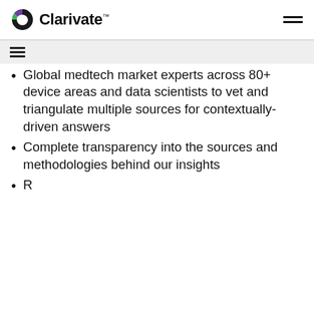Clarivate
Global medtech market experts across 80+ device areas and data scientists to vet and triangulate multiple sources for contextually-driven answers
Complete transparency into the sources and methodologies behind our insights